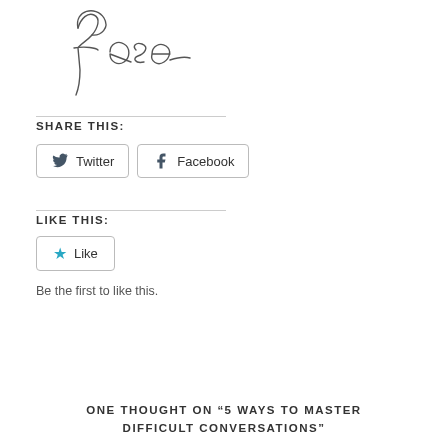[Figure (illustration): Handwritten signature reading 'Rose' in cursive script]
SHARE THIS:
Twitter  Facebook
LIKE THIS:
Like
Be the first to like this.
ONE THOUGHT ON “5 WAYS TO MASTER DIFFICULT CONVERSATIONS”